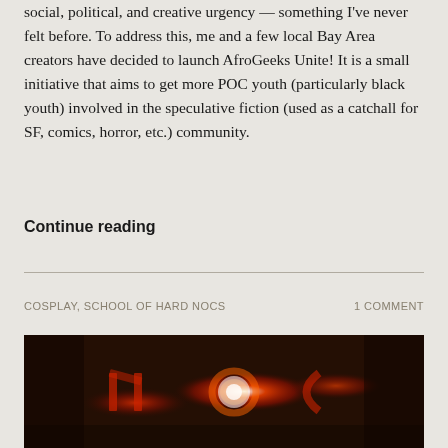social, political, and creative urgency — something I've never felt before. To address this, me and a few local Bay Area creators have decided to launch AfroGeeks Unite! It is a small initiative that aims to get more POC youth (particularly black youth) involved in the speculative fiction (used as a catchall for SF, comics, horror, etc.) community.
Continue reading
COSPLAY, SCHOOL OF HARD NOCS
1 COMMENT
[Figure (photo): Dark photo showing glowing red letters 'NOC' with a bright white/red light source, against a black background]